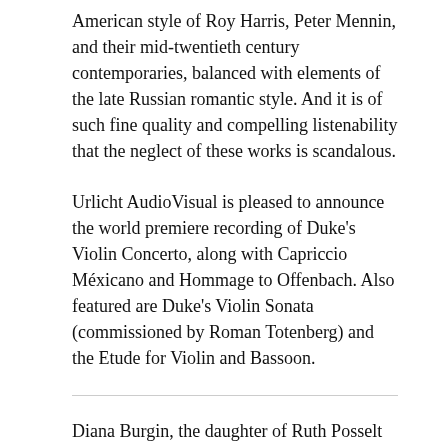American style of Roy Harris, Peter Mennin, and their mid-twentieth century contemporaries, balanced with elements of the late Russian romantic style. And it is of such fine quality and compelling listenability that the neglect of these works is scandalous.
Urlicht AudioVisual is pleased to announce the world premiere recording of Duke's Violin Concerto, along with Capriccio Méxicano and Hommage to Offenbach. Also featured are Duke's Violin Sonata (commissioned by Roman Totenberg) and the Etude for Violin and Bassoon.
Diana Burgin, the daughter of Ruth Posselt (1911-2007), the distinguished violinist who performed the premier of Duke's Violin Concerto, shared the following of her mother's recollections about the